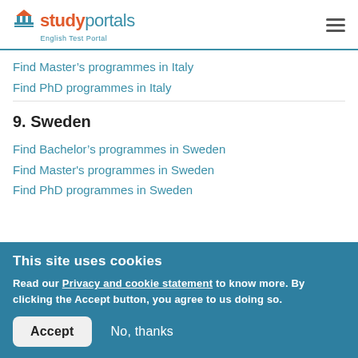studyportals English Test Portal
Find Master’s programmes in Italy
Find PhD programmes in Italy
9. Sweden
Find Bachelor’s programmes in Sweden
Find Master's programmes in Sweden
Find PhD programmes in Sweden
This site uses cookies
Read our Privacy and cookie statement to know more. By clicking the Accept button, you agree to us doing so.
Accept   No, thanks